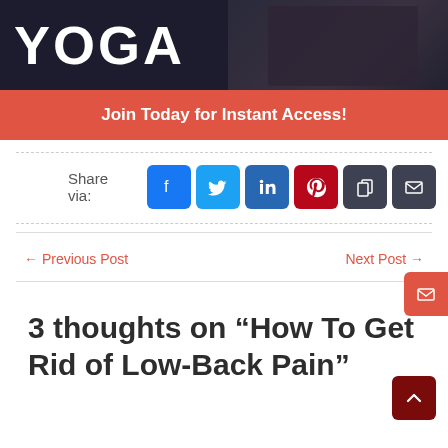[Figure (photo): Dark banner with large white bold text 'YOGA' on the left and a person in dark clothing on the right]
Join Today for Instant Access!
Share via:
← Previous Post
Next Post →
3 thoughts on “How To Get Rid of Low-Back Pain”